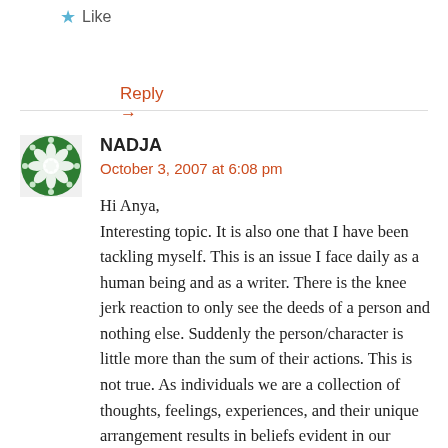★ Like
Reply →
NADJA
October 3, 2007 at 6:08 pm
Hi Anya,
Interesting topic. It is also one that I have been tackling myself. This is an issue I face daily as a human being and as a writer. There is the knee jerk reaction to only see the deeds of a person and nothing else. Suddenly the person/character is little more than the sum of their actions. This is not true. As individuals we are a collection of thoughts, feelings, experiences, and their unique arrangement results in beliefs evident in our behavior and choices. This humanity, common to us